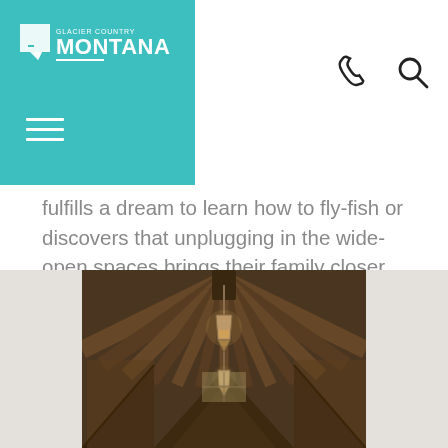[Figure (logo): Glacier Country Montana logo on teal background with hamburger menu]
fulfills a dream to learn how to fly-fish or discovers that unplugging in the wide-open spaces brings their family closer. There are many quiet and exhilarating moments to be relished when guests and staff find themselves bursting with appreciation of the beauty and peace of our American West at The Ranch at Rock Creek.
[Figure (photo): Interior of a rustic wooden barn with log ceiling and hanging lantern lights, viewed from the end of a corridor]